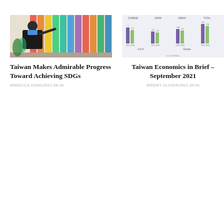[Figure (photo): Man in dark suit pointing at colorful vertical banners on a wall]
Taiwan Makes Admirable Progress Toward Achieving SDGs
ANGELICA OUNG/2021-08-24
[Figure (bar-chart): Grouped bar chart showing Taiwan economics data across regions: CHINESE, JAPAN, ASEAN, TOTAL, U.S.A., Europe, with 2021 and 2020 comparison bars]
Taiwan Economics in Brief – September 2021
JEREMY OLIVIER/2021-09-01